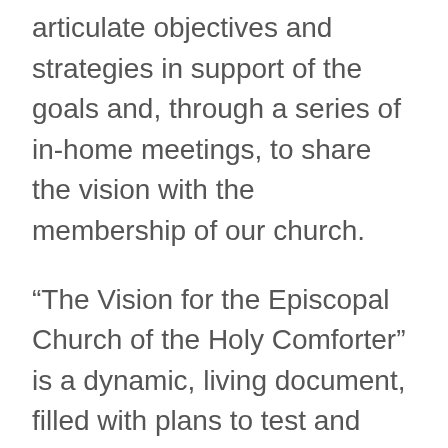articulate objectives and strategies in support of the goals and, through a series of in-home meetings, to share the vision with the membership of our church.
“The Vision for the Episcopal Church of the Holy Comforter” is a dynamic, living document, filled with plans to test and explore. As more inactive and new members become involved, our shared vision will undoubtedly be further refined and enriched by their contributions. Ultimately, as the plan states, our vision is to “transform ourselves, a community of the faithful ministering to its members, to being a